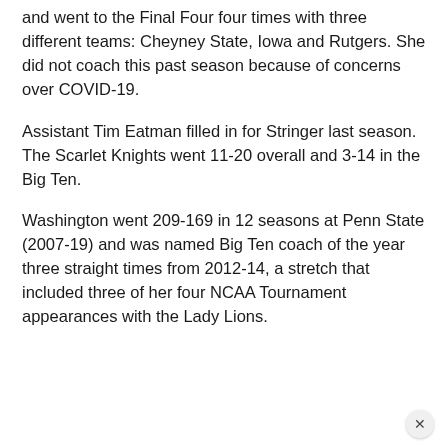and went to the Final Four four times with three different teams: Cheyney State, Iowa and Rutgers. She did not coach this past season because of concerns over COVID-19.
Assistant Tim Eatman filled in for Stringer last season. The Scarlet Knights went 11-20 overall and 3-14 in the Big Ten.
Washington went 209-169 in 12 seasons at Penn State (2007-19) and was named Big Ten coach of the year three straight times from 2012-14, a stretch that included three of her four NCAA Tournament appearances with the Lady Lions.